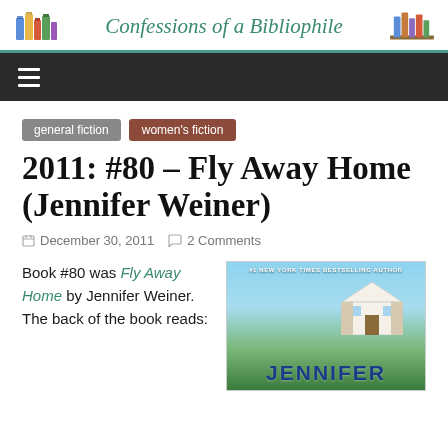Confessions of a Bibliophile
general fiction
women's fiction
2011: #80 – Fly Away Home (Jennifer Weiner)
December 30, 2011   2 Comments
Book #80 was Fly Away Home by Jennifer Weiner.  The back of the book reads:
[Figure (photo): Book cover of Fly Away Home by Jennifer Weiner, showing a house on a hill with blue sky and green grass, with the author name JENNIFER in large blue letters at the bottom and '#1 New York Times Bestselling Author' at the top.]